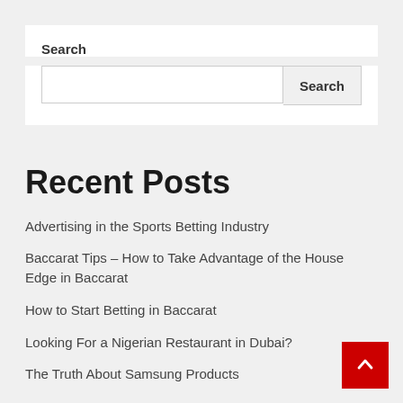Search
Search input and button
Recent Posts
Advertising in the Sports Betting Industry
Baccarat Tips – How to Take Advantage of the House Edge in Baccarat
How to Start Betting in Baccarat
Looking For a Nigerian Restaurant in Dubai?
The Truth About Samsung Products